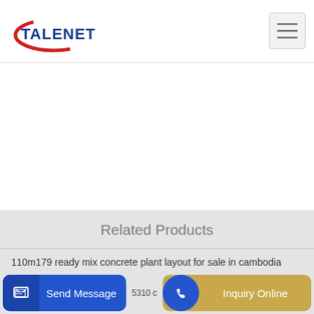[Figure (logo): Talenet logo with red arc and blue text]
[Figure (other): Hamburger menu icon (three horizontal lines)]
Related Products
110m179 ready mix concrete plant layout for sale in cambodia
Camfaud Concrete Pumps Limited and David Faud SERVICE
5310 c
Send Message
Inquiry Online